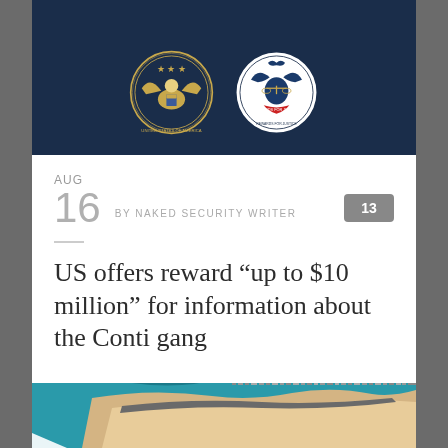[Figure (logo): Two official US government seals on dark navy background: US Department of State seal (eagle with shield) and Rewards for Justice seal, side by side]
AUG
16  BY NAKED SECURITY WRITER  13
US offers reward “up to $10 million” for information about the Conti gang
[Figure (photo): Aerial photograph of a coastal city with a long curved beach, turquoise ocean water, sandy shoreline, and dense urban cityscape in the background with mountains]